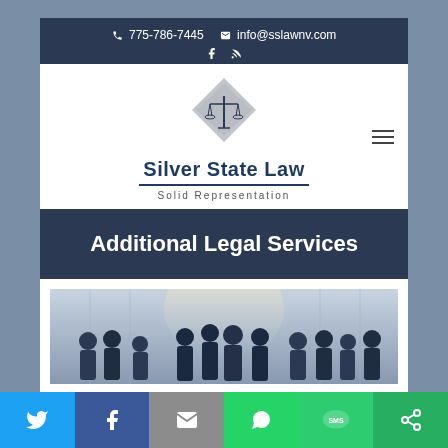📞 775-786-7445   ✉ info@sslawnv.com   f  RSS
[Figure (logo): Silver State Law logo: diamond with scales of justice, firm name 'Silver State Law', tagline 'Solid Representation']
Additional Legal Services
[Figure (photo): Silhouettes of business people in a meeting room with bright backlighting]
Social share buttons: Twitter, Facebook, Email, WhatsApp, SMS, Other